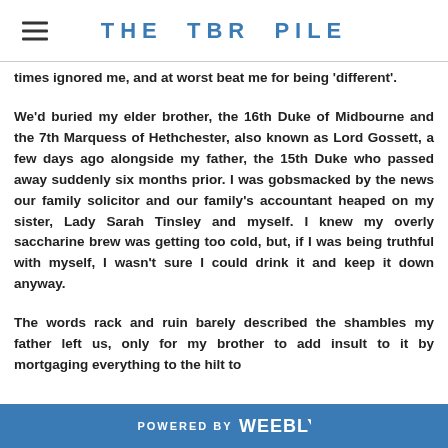THE TBR PILE
times ignored me, and at worst beat me for being 'different'.
We'd buried my elder brother, the 16th Duke of Midbourne and the 7th Marquess of Hethchester, also known as Lord Gossett, a few days ago alongside my father, the 15th Duke who passed away suddenly six months prior. I was gobsmacked by the news our family solicitor and our family's accountant heaped on my sister, Lady Sarah Tinsley and myself. I knew my overly saccharine brew was getting too cold, but, if I was being truthful with myself, I wasn't sure I could drink it and keep it down anyway.
The words rack and ruin barely described the shambles my father left us, only for my brother to add insult to it by mortgaging everything to the hilt to
POWERED BY weebly